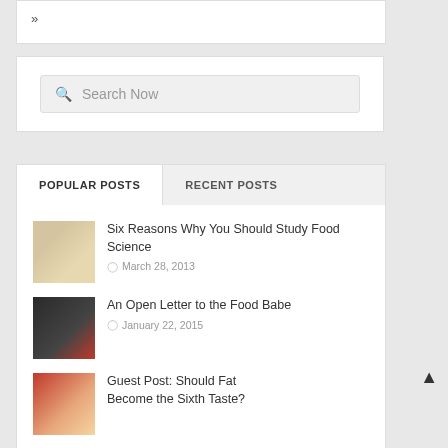»
Search Now
POPULAR POSTS
RECENT POSTS
Six Reasons Why You Should Study Food Science
March 28, 2013
An Open Letter to the Food Babe
January 22, 2015
Guest Post: Should Fat Become the Sixth Taste?